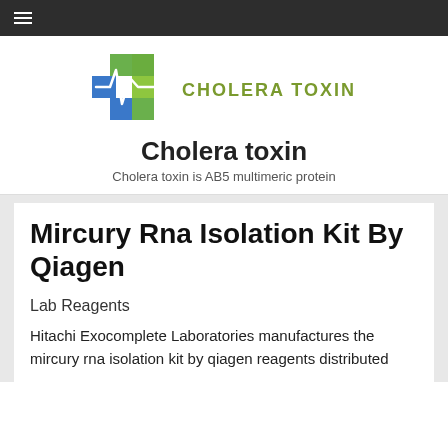☰
[Figure (logo): Cholera Toxin logo: a blue and green cross/plus shape with a white ECG heartbeat line, beside the text CHOLERA TOXIN in olive/green uppercase letters]
Cholera toxin
Cholera toxin is AB5 multimeric protein
Mircury Rna Isolation Kit By Qiagen
Lab Reagents
Hitachi Exocomplete Laboratories manufactures the mircury rna isolation kit by qiagen reagents distributed